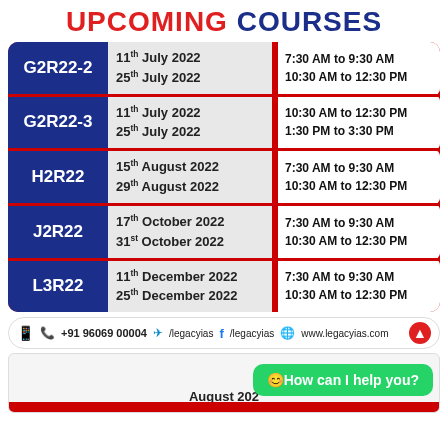UPCOMING COURSES
| Course | Dates | Times |
| --- | --- | --- |
| G2R22-2 | 11th July 2022 / 25th July 2022 | 7:30 AM to 9:30 AM / 10:30 AM to 12:30 PM |
| G2R22-3 | 11th July 2022 / 25th July 2022 | 10:30 AM to 12:30 PM / 1:30 PM to 3:30 PM |
| H2R22 | 15th August 2022 / 29th August 2022 | 7:30 AM to 9:30 AM / 10:30 AM to 12:30 PM |
| J2R22 | 17th October 2022 / 31st October 2022 | 7:30 AM to 9:30 AM / 10:30 AM to 12:30 PM |
| L3R22 | 11th December 2022 / 25th December 2022 | 7:30 AM to 9:30 AM / 10:30 AM to 12:30 PM |
+91 96069 00004  /legacyias  /legacyias  www.legacyias.com
August 202...